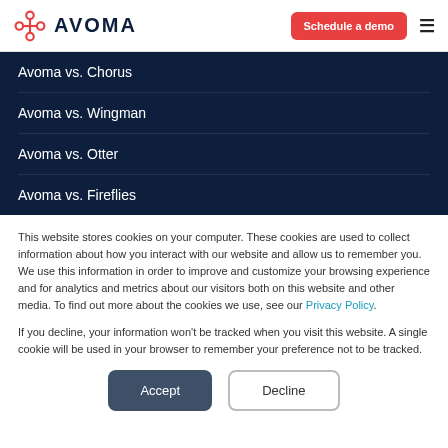Avoma | Schedule a demo
Avoma vs. Chorus
Avoma vs. Wingman
Avoma vs. Otter
Avoma vs. Fireflies
This website stores cookies on your computer. These cookies are used to collect information about how you interact with our website and allow us to remember you. We use this information in order to improve and customize your browsing experience and for analytics and metrics about our visitors both on this website and other media. To find out more about the cookies we use, see our Privacy Policy.
If you decline, your information won't be tracked when you visit this website. A single cookie will be used in your browser to remember your preference not to be tracked.